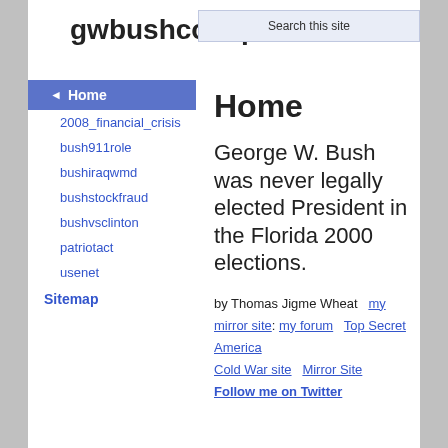gwbushconsp...
Home
2008_financial_crisis
bush911role
bushiraqwmd
bushstockfraud
bushvsclinton
patriotact
usenet
Sitemap
Home
George W. Bush was never legally elected President in the Florida 2000 elections.
by Thomas Jigme Wheat  my mirror site: my forum   Top Secret America
Cold War site  Mirror Site  Follow me on Twitter